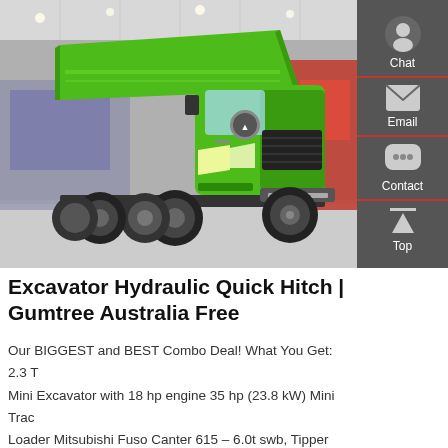[Figure (photo): A bright green heavy-duty dump truck (SINOTRUK/HOWO brand) displayed at an exhibition hall, photographed from a front-angled view. Several other vehicles visible in the background.]
Excavator Hydraulic Quick Hitch | Gumtree Australia Free
Our BIGGEST and BEST Combo Deal! What You Get: 2.3 T Mini Excavator with 18 hp engine 35 hp (23.8 kW) Mini Trac Loader Mitsubishi Fuso Canter 615 – 6.0t swb, Tipper Full Details Of Each Component: 2.3 Ton Mini Excavator with 18